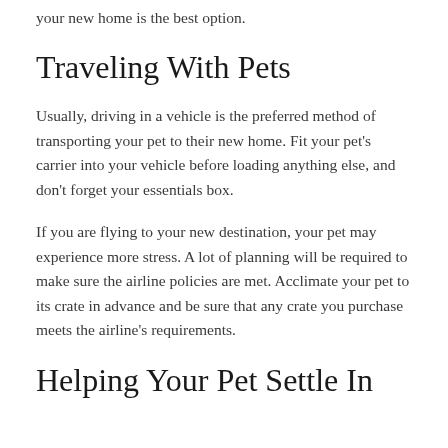your new home is the best option.
Traveling With Pets
Usually, driving in a vehicle is the preferred method of transporting your pet to their new home. Fit your pet's carrier into your vehicle before loading anything else, and don't forget your essentials box.
If you are flying to your new destination, your pet may experience more stress. A lot of planning will be required to make sure the airline policies are met. Acclimate your pet to its crate in advance and be sure that any crate you purchase meets the airline's requirements.
Helping Your Pet Settle In